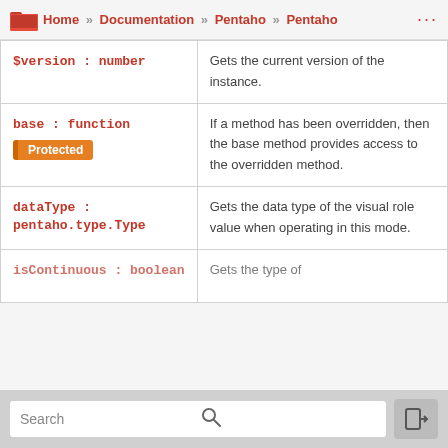Home » Documentation » Pentaho » Pentaho ...
| Property | Description |
| --- | --- |
| $version : number | Gets the current version of the instance. |
| base : function [Protected] | If a method has been overridden, then the base method provides access to the overridden method. |
| dataType : pentaho.type.Type | Gets the data type of the visual role value when operating in this mode. |
| isContinuous : boolean | Gets the type of... |
Search